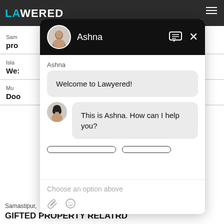[Figure (screenshot): Screenshot of Lawyered website with a chat popup overlay. The popup shows a chat interface with agent 'Ashna', greeting messages, and input options. Background shows partially visible lawyer listing items.]
Sam
pro
Isla
We:
Mu
Doo
Ashna
Welcome to Lawyered!
This is Ashna. How can I help you?
Choose an option above
Samastipur,  28 Jun, 2021,  (1 year, 2 months ago)
GIFTED PROPERTY RELATRD